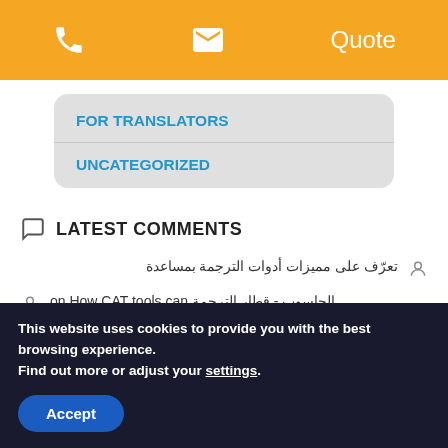Phone | Mail | Quote
FOR TRANSLATORS
UNCATEGORIZED
LATEST COMMENTS
تعرّف على مميزات أدوات الترجمة بمساعدة
الحاسوب - قطار الترجمة on How CAT tools can
This website uses cookies to provide you with the best browsing experience.
Find out more or adjust your settings.